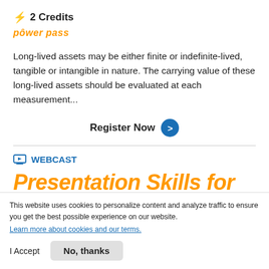⚡ 2 Credits
[Figure (logo): PowerPass logo in orange italic bold text with a power button symbol on the 'o']
Long-lived assets may be either finite or indefinite-lived, tangible or intangible in nature. The carrying value of these long-lived assets should be evaluated at each measurement...
Register Now >
WEBCAST
Presentation Skills for
This website uses cookies to personalize content and analyze traffic to ensure you get the best possible experience on our website.
Learn more about cookies and our terms.
I Accept   No, thanks